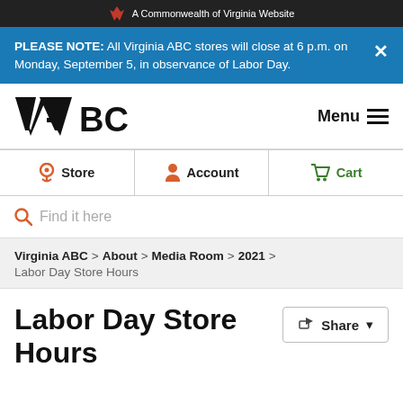A Commonwealth of Virginia Website
PLEASE NOTE: All Virginia ABC stores will close at 6 p.m. on Monday, September 5, in observance of Labor Day.
[Figure (logo): Virginia ABC logo with stylized VA letters and ABC text]
Menu
Store  Account  Cart
Find it here
Virginia ABC > About > Media Room > 2021 > Labor Day Store Hours
Labor Day Store Hours
Share